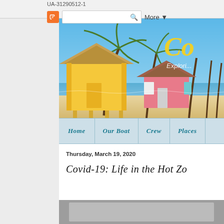UA-31290512-1
[Figure (screenshot): Blogger top navigation bar with orange Blogger icon, search box, and More dropdown]
[Figure (photo): Tropical beach scene with colorful beach huts (yellow and pink), palm trees, white sandy beach and blue sky. Blog header image with partial logo text 'Co...' and 'Explori...' visible in upper right.]
[Figure (screenshot): Blog navigation bar with tabs: Home, Our Boat, Crew, Places]
Thursday, March 19, 2020
Covid-19: Life in the Hot Zo...
[Figure (photo): Partial photo at bottom of page, content partially cut off]